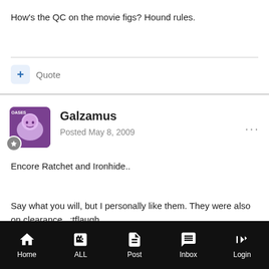How's the QC on the movie figs? Hound rules.
Quote
Galzamus
Posted May 8, 2009
Encore Ratchet and Ironhide..
Say what you will, but I personally like them. They were also on clearance.. :tflaugh
Home   ALL   Post   Inbox   Login